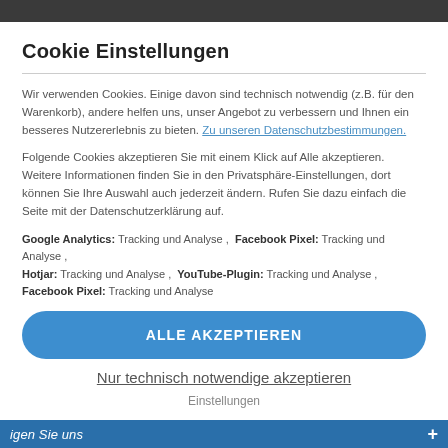Cookie Einstellungen
Wir verwenden Cookies. Einige davon sind technisch notwendig (z.B. für den Warenkorb), andere helfen uns, unser Angebot zu verbessern und Ihnen ein besseres Nutzererlebnis zu bieten. Zu unseren Datenschutzbestimmungen.
Folgende Cookies akzeptieren Sie mit einem Klick auf Alle akzeptieren. Weitere Informationen finden Sie in den Privatsphäre-Einstellungen, dort können Sie Ihre Auswahl auch jederzeit ändern. Rufen Sie dazu einfach die Seite mit der Datenschutzerklärung auf.
Google Analytics: Tracking und Analyse ,  Facebook Pixel: Tracking und Analyse , Hotjar: Tracking und Analyse ,  YouTube-Plugin: Tracking und Analyse ,  Facebook Pixel: Tracking und Analyse
ALLE AKZEPTIEREN
Nur technisch notwendige akzeptieren
Einstellungen